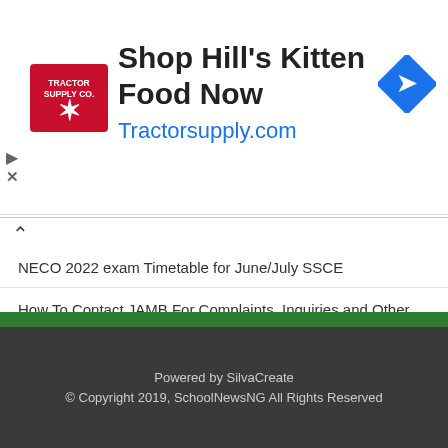[Figure (other): Advertisement banner for Tractor Supply Co. showing 'Shop Hill's Kitten Food Now' with Tractorsupply.com URL and a blue diamond navigation icon]
NECO 2022 exam Timetable for June/July SSCE
How To Contact JAMB For Complaints, Inquiries and Other issues
JAMB Matriculation List For All Undergraduates – Check Here
Important Things Every Corps Member Need To Bring Along To Orientation Camp
Powered by SilvaCreate
© Copyright 2019, SchoolNewsNG All Rights Reserved